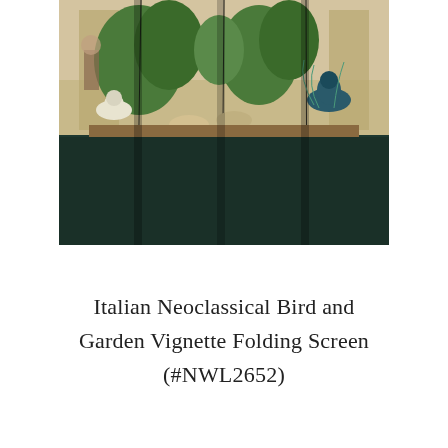[Figure (photo): A decorative folding screen featuring Italian Neoclassical bird and garden vignette paintings across four panels, with colorful birds, foliage, and classical architectural elements on a dark teal/green background.]
Italian Neoclassical Bird and Garden Vignette Folding Screen (#NWL2652)